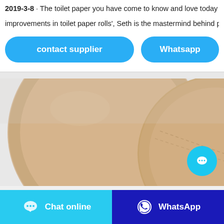2019-3-8 · The toilet paper you have come to know and love today wa... improvements in toilet paper rolls', Seth is the mastermind behind perf...
[Figure (other): Two blue rounded rectangle buttons labeled 'contact supplier' and 'Whatsapp' on white background]
[Figure (photo): Close-up photo of toilet paper rolls showing texture and perforations, beige/brown color]
[Figure (other): Bottom navigation bar with two buttons: 'Chat online' (light blue with chat icon) and 'WhatsApp' (dark blue with WhatsApp icon)]